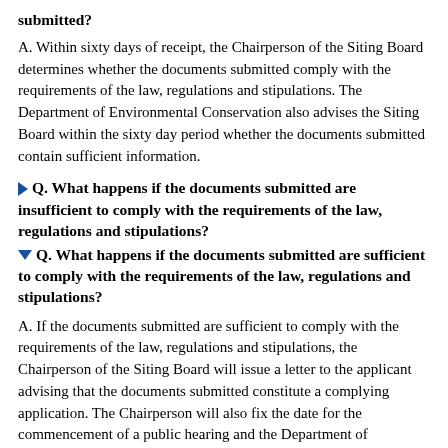submitted?
A. Within sixty days of receipt, the Chairperson of the Siting Board determines whether the documents submitted comply with the requirements of the law, regulations and stipulations. The Department of Environmental Conservation also advises the Siting Board within the sixty day period whether the documents submitted contain sufficient information.
Q. What happens if the documents submitted are insufficient to comply with the requirements of the law, regulations and stipulations?
Q. What happens if the documents submitted are sufficient to comply with the requirements of the law, regulations and stipulations?
A. If the documents submitted are sufficient to comply with the requirements of the law, regulations and stipulations, the Chairperson of the Siting Board will issue a letter to the applicant advising that the documents submitted constitute a complying application. The Chairperson will also fix the date for the commencement of a public hearing and the Department of Environmental Conservation will initiate its review pursuant to federally delegated or approved environmental permitting authority or air and water permit applications. Within a reasonable time, the